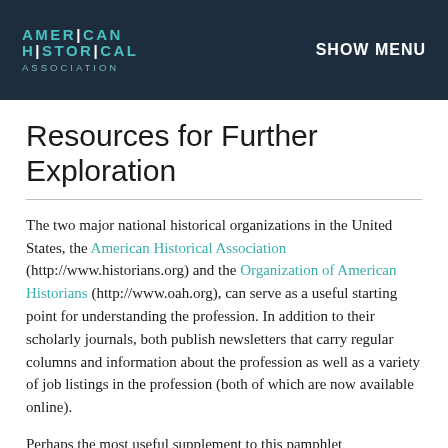AMERICAN HISTORICAL ASSOCIATION | SHOW MENU
Resources for Further Exploration
The two major national historical organizations in the United States, the American Historical Association (http://www.historians.org) and the Organization of American Historians (http://www.oah.org), can serve as a useful starting point for understanding the profession. In addition to their scholarly journals, both publish newsletters that carry regular columns and information about the profession as well as a variety of job listings in the profession (both of which are now available online).
Perhaps the most useful supplement to this pamphlet